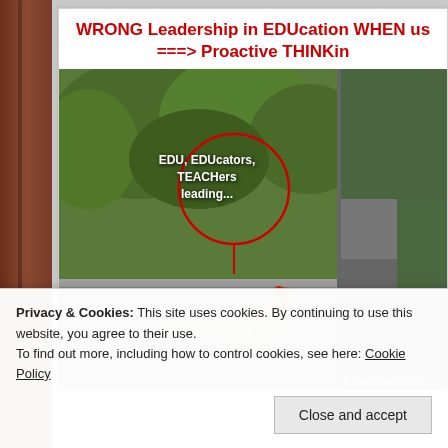WRONG Leadership in EDUcation WHEN us ===> Proactive THINKin
[Figure (photo): A duck leading ducklings across a road/curb with green bushes in background. Overlay text reads 'EDU, EDUcators, TEACHers leading...' with red circle annotation. Two side-by-side photos, right one partially visible showing a road/path.]
Privacy & Cookies: This site uses cookies. By continuing to use this website, you agree to their use.
To find out more, including how to control cookies, see here: Cookie Policy
Close and accept